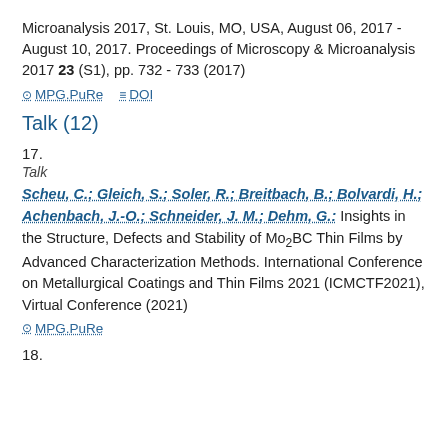Microanalysis 2017, St. Louis, MO, USA, August 06, 2017 - August 10, 2017. Proceedings of Microscopy & Microanalysis 2017 23 (S1), pp. 732 - 733 (2017)
MPG.PuRe   DOI
Talk (12)
17.
Talk
Scheu, C.; Gleich, S.; Soler, R.; Breitbach, B.; Bolvardi, H.; Achenbach, J.-O.; Schneider, J. M.; Dehm, G.: Insights in the Structure, Defects and Stability of Mo2BC Thin Films by Advanced Characterization Methods. International Conference on Metallurgical Coatings and Thin Films 2021 (ICMCTF2021), Virtual Conference (2021)
MPG.PuRe
18.